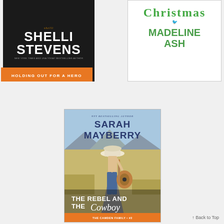[Figure (illustration): Book cover: Shelli Stevens 'Holding Out for a Hero' - dark background with white bold text and orange bottom bar]
[Figure (illustration): Book cover: Madeline Ash Christmas book - white background with green Christmas text and author name]
[Figure (illustration): Book cover: Sarah Mayberry 'The Rebel and the Cowboy' - The Cannikin Family #2, featuring a shirtless cowboy with guitar against an outdoor background]
↑ Back to Top